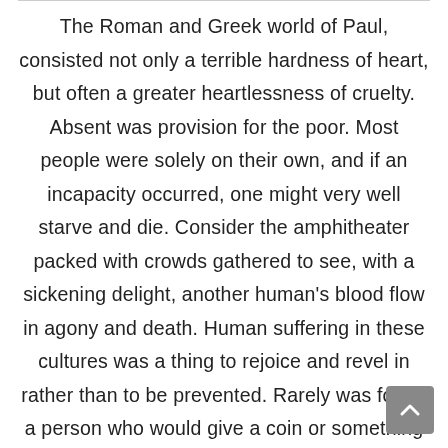The Roman and Greek world of Paul, consisted not only a terrible hardness of heart, but often a greater heartlessness of cruelty. Absent was provision for the poor. Most people were solely on their own, and if an incapacity occurred, one might very well starve and die. Consider the amphitheater packed with crowds gathered to see, with a sickening delight, another human's blood flow in agony and death. Human suffering in these cultures was a thing to rejoice and revel in rather than to be prevented. Rarely was found a person who would give a coin or something of value to the poor. Historians bluntly record– "Charity